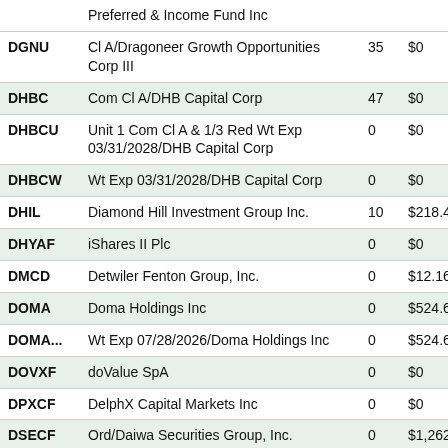| Ticker | Name | Count | Value |
| --- | --- | --- | --- |
|  | Preferred & Income Fund Inc |  |  |
| DGNU | Cl A/Dragoneer Growth Opportunities Corp III | 35 | $0 |
| DHBC | Com Cl A/DHB Capital Corp | 47 | $0 |
| DHBCU | Unit 1 Com Cl A & 1/3 Red Wt Exp 03/31/2028/DHB Capital Corp | 0 | $0 |
| DHBCW | Wt Exp 03/31/2028/DHB Capital Corp | 0 | $0 |
| DHIL | Diamond Hill Investment Group Inc. | 10 | $218.41M |
| DHYAF | iShares II Plc | 0 | $0 |
| DMCD | Detwiler Fenton Group, Inc. | 0 | $12.16M |
| DOMA | Doma Holdings Inc | 0 | $524.68M |
| DOMA... | Wt Exp 07/28/2026/Doma Holdings Inc | 0 | $524.68M |
| DOVXF | doValue SpA | 0 | $0 |
| DPXCF | DelphX Capital Markets Inc | 0 | $0 |
| DSECF | Ord/Daiwa Securities Group, Inc. | 0 | $1,262.30B |
| DSEEY | ADR (Sponsored)/Daiwa Securities Group, Inc. | 0 | $1,262.30B |